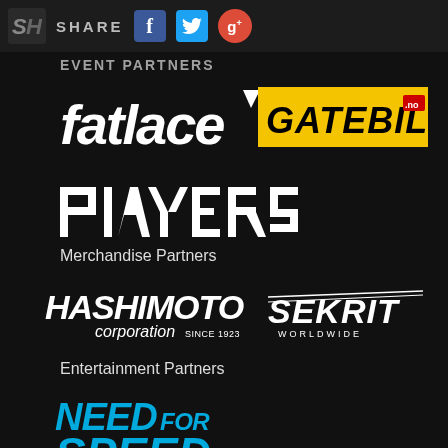SHARE
EVENT PARTNERS (partially visible)
[Figure (logo): fatlace logo - white italic bold text with downward arrow/triangle mark]
[Figure (logo): GATEBIL.no logo - yellow background with black bold italic text and red .no badge]
[Figure (logo): Players logo - white stylized angular/geometric text on black]
Merchandise Partners
[Figure (logo): HASHIMOTO corporation SINCE 1923 logo - white bold italic text]
[Figure (logo): SEKRIT WORLDWIDE logo - white angular bold italic text with speed lines]
Entertainment Partners
[Figure (logo): NEED FOR SPEED logo - blue bold italic stylized text]